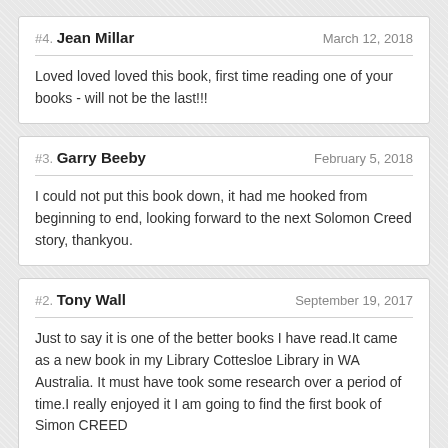#4. Jean Millar — March 12, 2018 — Loved loved loved this book, first time reading one of your books - will not be the last!!!
#3. Garry Beeby — February 5, 2018 — I could not put this book down, it had me hooked from beginning to end, looking forward to the next Solomon Creed story, thankyou.
#2. Tony Wall — September 19, 2017 — Just to say it is one of the better books I have read.It came as a new book in my Library Cottesloe Library in WA Australia. It must have took some research over a period of time.I really enjoyed it I am going to find the first book of Simon CREED